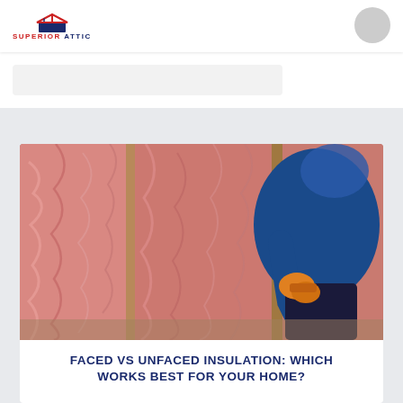SUPERIOR ATTIC
[Figure (photo): A worker in a blue hoodie and orange gloves installing or handling pink fiberglass batt insulation between wall studs in a residential construction setting.]
FACED VS UNFACED INSULATION: WHICH WORKS BEST FOR YOUR HOME?